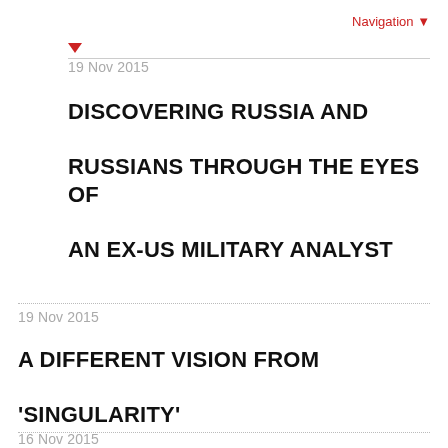Navigation ▼
19 Nov 2015
DISCOVERING RUSSIA AND RUSSIANS THROUGH THE EYES OF AN EX-US MILITARY ANALYST
19 Nov 2015
A DIFFERENT VISION FROM 'SINGULARITY'
16 Nov 2015